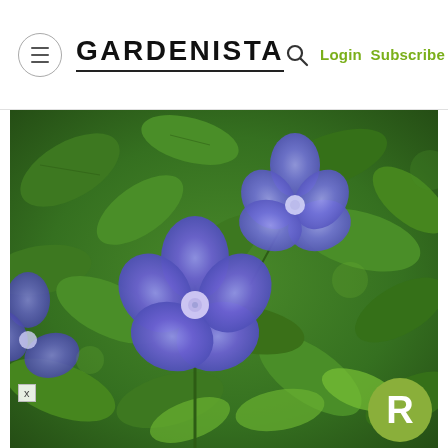GARDENISTA — Login Subscribe
[Figure (photo): Close-up photograph of purple/blue periwinkle (Vinca) flowers with five petals, surrounded by green glossy leaves. Two prominent flowers visible, one centered and one upper right. Background is lush green foliage.]